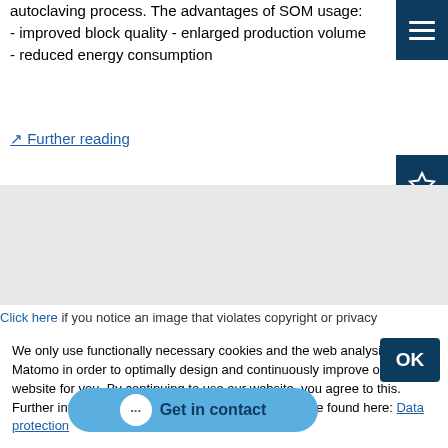autoclaving process. The advantages of SOM usage: - improved block quality - enlarged production volume - reduced energy consumption
Further reading
Click here if you notice an image that violates copyright or privacy
We only use functionally necessary cookies and the web analysis tool Matomo in order to optimally design and continuously improve our website for you. By continuing to use our website, you agree to this. Further information and an objection possibility can be found here: Data protection